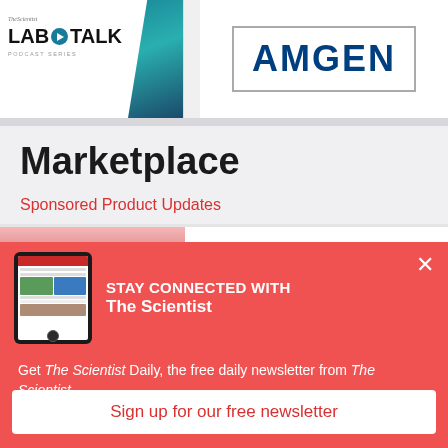[Figure (logo): The Scientist Lab Talk Podcast Series logo with teal/dark background graphic on right]
[Figure (logo): AMGEN logo in dark blue bold text inside a rectangular border]
Marketplace
Sponsored Product Updates
[Figure (screenshot): Partial screenshot of a content strip below Sponsored Product Updates]
[Figure (screenshot): Popup overlay showing Stay Connected With The Scientist newsletter signup with tablet image]
Get The Scientist Daily, the free daily newsletter from The Scientist
Sign up for our free newsletter